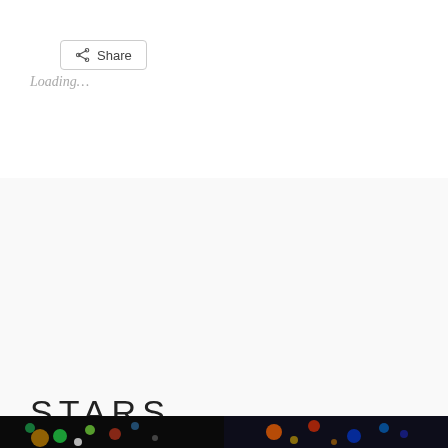[Figure (other): Share button with share icon]
Loading...
STARS.
February 25, 2014   Leave a comment
Privacy & Cookies: This site uses cookies. By continuing to use this website, you agree to their use.
To find out more, including how to control cookies, see here: Cookie Policy
[Figure (photo): Two small thumbnail photos at the bottom: left shows colorful bokeh lights (green, white) on dark background; right shows colorful bokeh lights (orange, blue) on dark background]